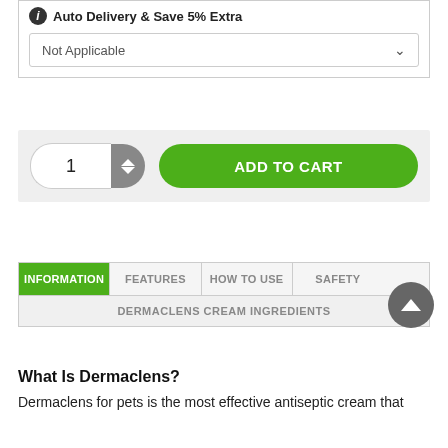Auto Delivery & Save 5% Extra
Not Applicable
1
ADD TO CART
INFORMATION
FEATURES
HOW TO USE
SAFETY
DERMACLENS CREAM INGREDIENTS
What Is Dermaclens?
Dermaclens for pets is the most effective antiseptic cream that